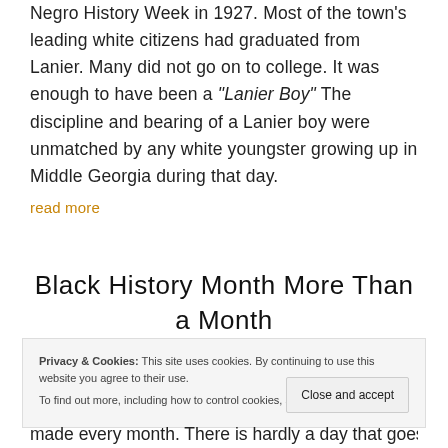Negro History Week in 1927. Most of the town's leading white citizens had graduated from Lanier. Many did not go on to college. It was enough to have been a "Lanier Boy" The discipline and bearing of a Lanier boy were unmatched by any white youngster growing up in Middle Georgia during that day.
read more
Black History Month More Than a Month
Privacy & Cookies: This site uses cookies. By continuing to use this website you agree to their use. To find out more, including how to control cookies, see here: Cookie Policy
made every month. There is hardly a day that goes by